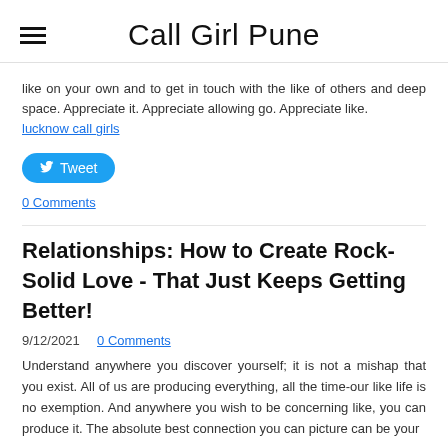Call Girl Pune
like on your own and to get in touch with the like of others and deep space. Appreciate it. Appreciate allowing go. Appreciate like.
lucknow call girls
Tweet
0 Comments
Relationships: How to Create Rock-Solid Love - That Just Keeps Getting Better!
9/12/2021  0 Comments
Understand anywhere you discover yourself; it is not a mishap that you exist. All of us are producing everything, all the time-our like life is no exemption. And anywhere you wish to be concerning like, you can produce it. The absolute best connection you can picture can be your